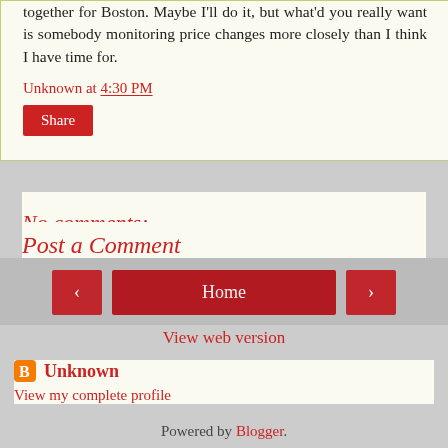together for Boston. Maybe I'll do it, but what'd you really want is somebody monitoring price changes more closely than I think I have time for.
Unknown at 4:30 PM
Share
No comments:
Post a Comment
Home
View web version
Unknown
View my complete profile
Powered by Blogger.